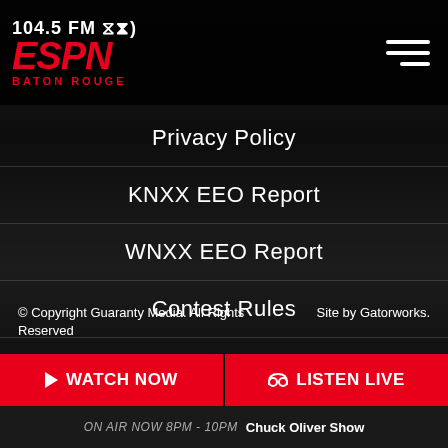104.5 FM ESPN BATON ROUGE
Privacy Policy
KNXX EEO Report
WNXX EEO Report
Contest Rules
Public Files KNXX
Public Files WNXX
© Copyright Guaranty Media. All Rights Reserved   Site by Gatorworks.
▶ WATCH NOW   🎧 LISTEN LIVE
ON AIR NOW 8PM - 10PM  Chuck Oliver Show